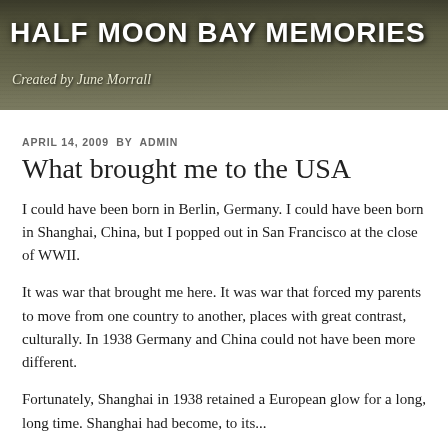HALF MOON BAY MEMORIES
Created by June Morrall
APRIL 14, 2009 BY ADMIN
What brought me to the USA
I could have been born in Berlin, Germany. I could have been born in Shanghai, China, but I popped out in San Francisco at the close of WWII.
It was war that brought me here. It was war that forced my parents to move from one country to another, places with great contrast, culturally. In 1938 Germany and China could not have been more different.
Fortunately, Shanghai in 1938 retained a European glow for a long, long time. Shanghai had become, to its...